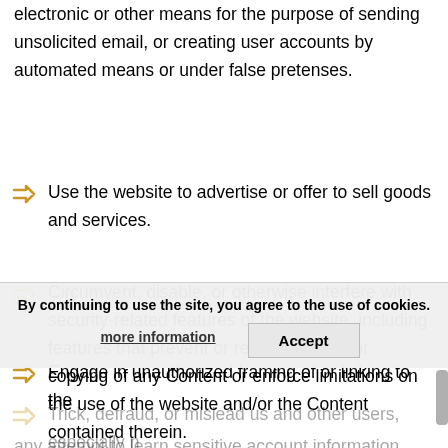electronic or other means for the purpose of sending unsolicited email, or creating user accounts by automated means or under false pretenses.
Use the website to advertise or offer to sell goods and services.
Circumvent, disable, or otherwise interfere with security-related features of the website, including features that prevent or restrict the use or copying of any Content or enforce limitations on the use of the website and/or the Content contained therein.
Engage in unauthorized framing of or linking to the website.
Trick, defraud, or mislead us and other users, especially in any attempt to learn sensitive account information such
By continuing to use the site, you agree to the use of cookies.